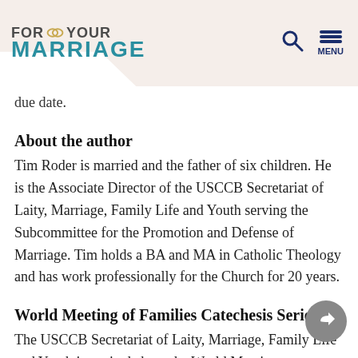FOR YOUR MARRIAGE [logo with rings] | Search | MENU
due date.
About the author
Tim Roder is married and the father of six children. He is the Associate Director of the USCCB Secretariat of Laity, Marriage, Family Life and Youth serving the Subcommittee for the Promotion and Defense of Marriage. Tim holds a BA and MA in Catholic Theology and has work professionally for the Church for 20 years.
World Meeting of Families Catechesis Series
The USCCB Secretariat of Laity, Marriage, Family Life and Youth is excited about the World Meeting